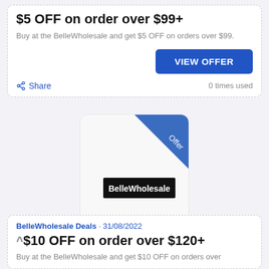$5 OFF on order over $99+
Buy at the BelleWholesale and get $5 OFF on orders over $99.
VIEW OFFER
Share
0 times used
[Figure (logo): BelleWholesale logo with blue diagonal 'Offer' ribbon banner in top-right corner]
BelleWholesale Deals
BelleWholesale Deals • 31/08/2022
$10 OFF on order over $120+
Buy at the BelleWholesale and get $10 OFF on orders over